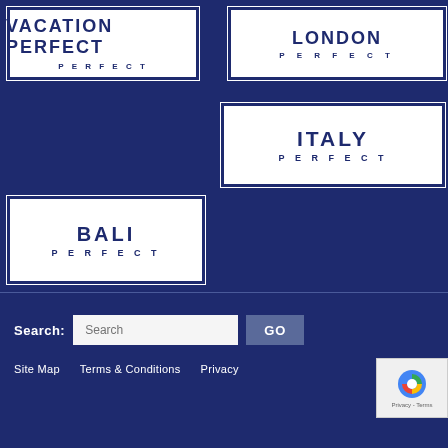[Figure (logo): Vacation Perfect logo — white card with dark navy border, text VACATION PERFECT]
[Figure (logo): London Perfect logo — white card with dark navy border, text LONDON PERFECT]
[Figure (logo): Italy Perfect logo — white card with dark navy border, text ITALY PERFECT]
[Figure (logo): Bali Perfect logo — white card with dark navy border, text BALI PERFECT]
Search:
GO
Site Map   Terms & Conditions   Privacy